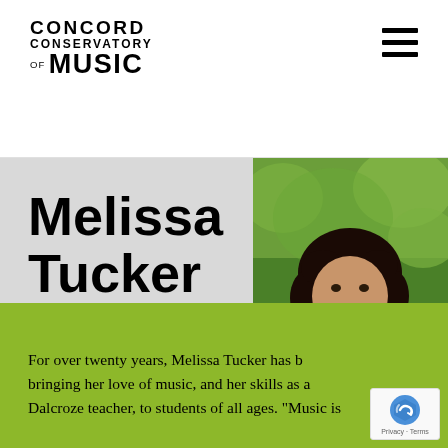CONCORD CONSERVATORY OF MUSIC
Melissa Tucker
PIANO
[Figure (photo): Portrait photo of Melissa Tucker, a woman with dark curly hair wearing a dark maroon turtleneck sweater, smiling, photographed outdoors with green foliage background]
For over twenty years, Melissa Tucker has b... bringing her love of music, and her skills as a... Dalcroze teacher, to students of all ages. “Music is